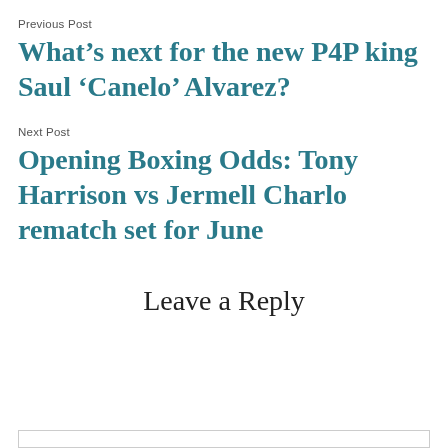Previous Post
What’s next for the new P4P king Saul ‘Canelo’ Alvarez?
Next Post
Opening Boxing Odds: Tony Harrison vs Jermell Charlo rematch set for June
Leave a Reply